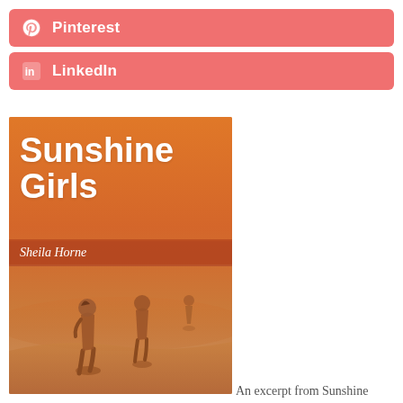[Figure (other): Pinterest social share button with Pinterest icon and bold white text 'Pinterest' on a salmon/coral pink background]
[Figure (other): LinkedIn social share button with LinkedIn icon and bold white text 'LinkedIn' on a salmon/coral pink background]
[Figure (photo): Book cover of 'Sunshine Girls' by Sheila Horne. Orange/warm sunset toned cover showing two women walking on a beach in silhouette from behind, with another figure in the background near the water. Large white bold title text 'Sunshine Girls' at top left, and author name 'Sheila Horne' in italics on a darker band across the middle.]
An excerpt from Sunshine